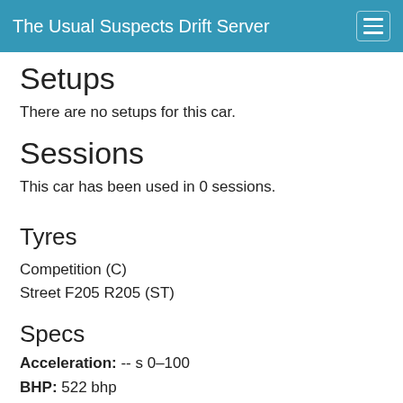The Usual Suspects Drift Server
Setups
There are no setups for this car.
Sessions
This car has been used in 0 sessions.
Tyres
Competition (C)
Street F205 R205 (ST)
Specs
Acceleration: -- s 0–100
BHP: 522 bhp
Power Ratio: 2.47 kg/hp